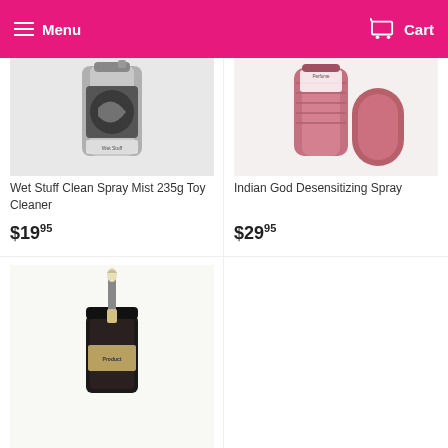Menu  Cart
[Figure (photo): Wet Stuff Clean Spray Mist 235g Toy Cleaner product photo - silver/black spray can]
Wet Stuff Clean Spray Mist 235g Toy Cleaner
$19.95
[Figure (photo): Indian God Desensitizing Spray product photo - pink/red bottles with perfume label]
Indian God Desensitizing Spray
$29.95
[Figure (photo): Third product photo - dark jar with brush applicator on white background]